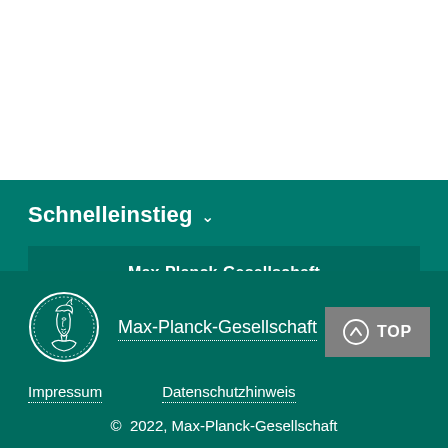Schnelleinstieg
Max-Planck-Gesellschaft
Intranet
[Figure (logo): Max-Planck-Gesellschaft circular medallion logo (Minerva head in white outline)]
Max-Planck-Gesellschaft
TOP
Impressum
Datenschutzhinweis
© 2022, Max-Planck-Gesellschaft